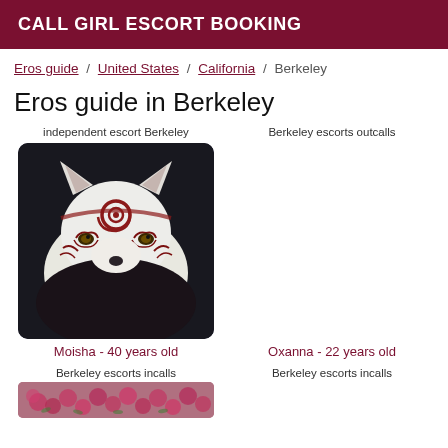CALL GIRL ESCORT BOOKING
Eros guide / United States / California / Berkeley
Eros guide in Berkeley
independent escort Berkeley
[Figure (illustration): Illustration of a white wolf with red tribal markings and decorative patterns on its face, against a dark background.]
Moisha - 40 years old
Berkeley escorts outcalls
Oxanna - 22 years old
Berkeley escorts incalls
[Figure (photo): Partial photo showing pink/red flowers at the bottom of the page.]
Berkeley escorts incalls